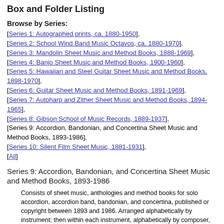Box and Folder Listing
Browse by Series:
[Series 1: Autographed prints, ca. 1880-1950], [Series 2: School Wind Band Music Octavos, ca. 1880-1970], [Series 3: Mandolin Sheet Music and Method Books, 1888-1969], [Series 4: Banjo Sheet Music and Method Books, 1900-1960], [Series 5: Hawaiian and Steel Guitar Sheet Music and Method Books, 1898-1970], [Series 6: Guitar Sheet Music and Method Books, 1891-1969], [Series 7: Autoharp and Zither Sheet Music and Method Books, 1894-1965], [Series 8: Gibson School of Music Records, 1889-1937], [Series 9: Accordion, Bandonian, and Concertina Sheet Music and Method Books, 1893-1986], [Series 10: Silent Film Sheet Music, 1881-1931], [All]
Series 9: Accordion, Bandonian, and Concertina Sheet Music and Method Books, 1893-1986
Consists of sheet music, anthologies and method books for solo accordion, accordion band, bandonian, and concertina, published or copyright between 1893 and 1986. Arranged alphabetically by instrument; then within each instrument, alphabetically by composer, arranger or editor.
Box 52